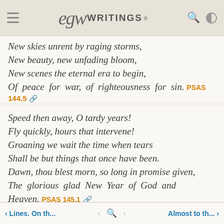EGW WRITINGS®
New skies unrent by raging storms,
New beauty, new unfading bloom,
New scenes the eternal era to begin,
Of peace for war, of righteousness for sin. PSAS 144.5
Speed then away, O tardy years!
Fly quickly, hours that intervene!
Groaning we wait the time when tears
Shall be but things that once have been.
Dawn, thou blest morn, so long in promise given,
The glorious glad New Year of God and Heaven. PSAS 145.1
< Lines. On th...   < Q >   Almost to th... >